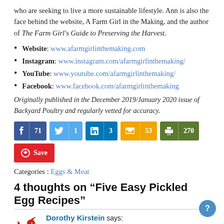who are seeking to live a more sustainable lifestyle. Ann is also the face behind the website, A Farm Girl in the Making, and the author of The Farm Girl's Guide to Preserving the Harvest.
Website: www.afarmgirlinthemaking.com
Instagram: www.instagram.com/afarmgirlinthemaking/
YouTube: www.youtube.com/afarmgirlinthemaking/
Facebook: www.facebook.com/afarmgirlinthemaking
Originally published in the December 2019/January 2020 issue of Backyard Poultry and regularly vetted for accuracy.
[Figure (infographic): Social share buttons: Facebook 71, Twitter 1, LinkedIn 3, Email 53, Print 270, Pinterest Save]
Categories : Eggs & Meat
4 thoughts on “Five Easy Pickled Egg Recipes”
Dorothy Kirstein says: